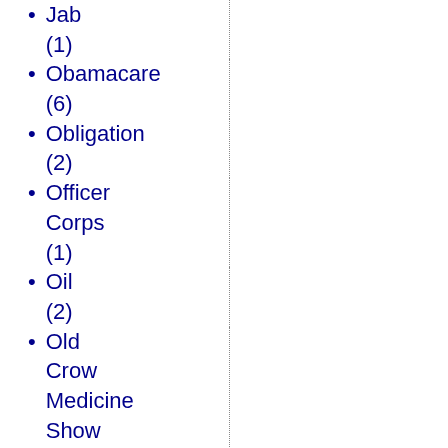Jab (1)
Obamacare (6)
Obligation (2)
Officer Corps (1)
Oil (2)
Old Crow Medicine Show (1)
Old Testament genocide (1)
Omaha shooting (1)
one-child policy